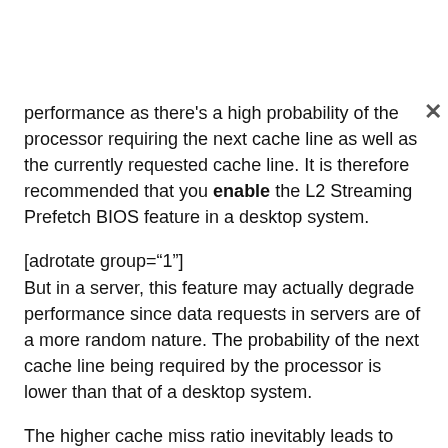performance as there's a high probability of the processor requiring the next cache line as well as the currently requested cache line. It is therefore recommended that you enable the L2 Streaming Prefetch BIOS feature in a desktop system.
[adrotate group="1"]
But in a server, this feature may actually degrade performance since data requests in servers are of a more random nature. The probability of the next cache line being required by the processor is lower than that of a desktop system.
The higher cache miss ratio inevitably leads to higher bus utilization, no thanks to the fact that the processor